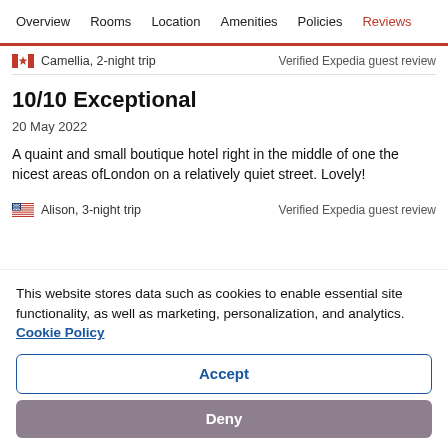Overview  Rooms  Location  Amenities  Policies  Reviews
Camellia, 2-night trip    Verified Expedia guest review
10/10 Exceptional
20 May 2022
A quaint and small boutique hotel right in the middle of one the nicest areas ofLondon on a relatively quiet street. Lovely!
Alison, 3-night trip    Verified Expedia guest review
This website stores data such as cookies to enable essential site functionality, as well as marketing, personalization, and analytics. Cookie Policy
Accept
Deny